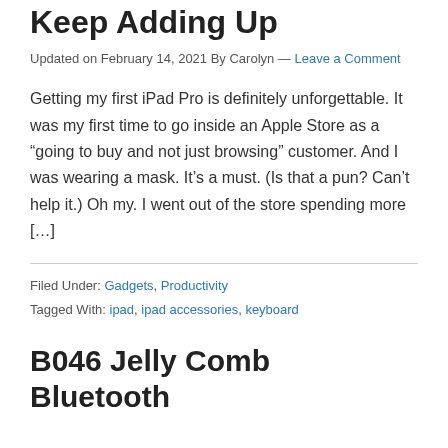Keep Adding Up
Updated on February 14, 2021 By Carolyn — Leave a Comment
Getting my first iPad Pro is definitely unforgettable. It was my first time to go inside an Apple Store as a “going to buy and not just browsing” customer. And I was wearing a mask. It’s a must. (Is that a pun? Can’t help it.) Oh my. I went out of the store spending more […]
Filed Under: Gadgets, Productivity
Tagged With: ipad, ipad accessories, keyboard
B046 Jelly Comb Bluetooth